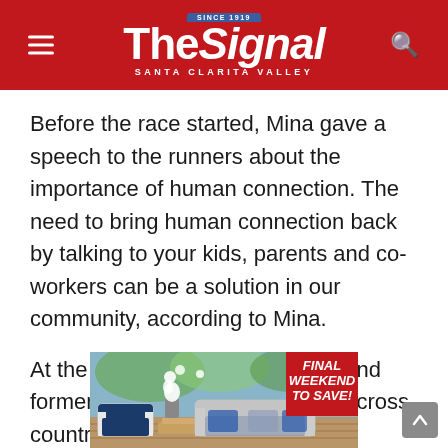The Signal — SANTA CLARITA VALLEY
Before the race started, Mina gave a speech to the runners about the importance of human connection. The need to bring human connection back by talking to your kids, parents and co-workers can be a solution in our community, according to Mina.
At the event, there were current and former Saugus students from the cross country team.
[Figure (photo): Advertisement showing outdoor patio furniture (sofa and armchair with navy cushions) with a red badge reading FINAL WEEKEND TO SAVE!]